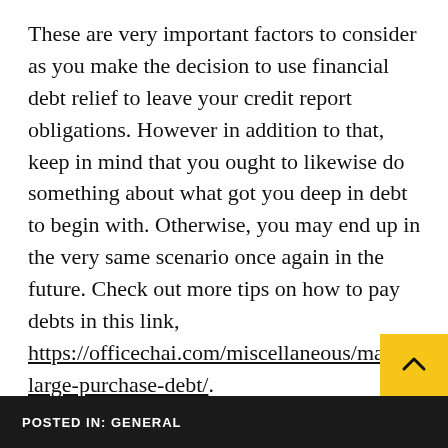These are very important factors to consider as you make the decision to use financial debt relief to leave your credit report obligations. However in addition to that, keep in mind that you ought to likewise do something about what got you deep in debt to begin with. Otherwise, you may end up in the very same scenario once again in the future. Check out more tips on how to pay debts in this link, https://officechai.com/miscellaneous/making-large-purchase-debt/.
POSTED IN: GENERAL